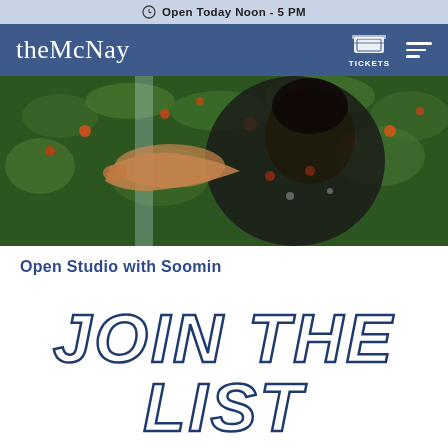Open Today Noon - 5 PM
theMcNay TICKETS
[Figure (photo): A person in a floral dark dress standing among lush green foliage with orange flowers, reaching toward plants.]
Open Studio with Soomin
JOIN THE LIST
Enter email address
SUBSCRIBE